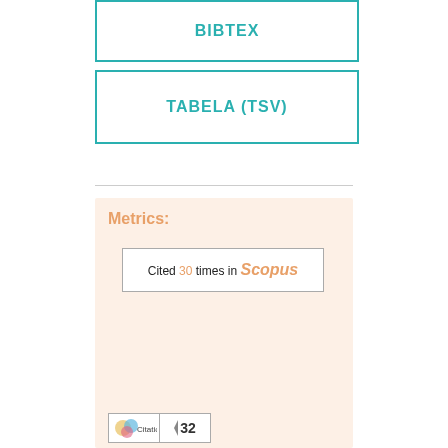BIBTEX
TABELA (TSV)
Metrics:
Cited 30 times in Scopus
[Figure (other): Citations badge showing 32 citations]
32